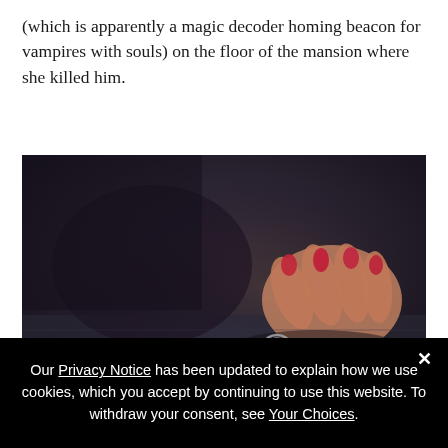(which is apparently a magic decoder homing beacon for vampires with souls) on the floor of the mansion where she killed him.
[Figure (photo): Dark close-up photograph of a hand with red-painted fingernails picking up or placing a small ring or piece of jewelry on a floor.]
Our Privacy Notice has been updated to explain how we use cookies, which you accept by continuing to use this website. To withdraw your consent, see Your Choices.